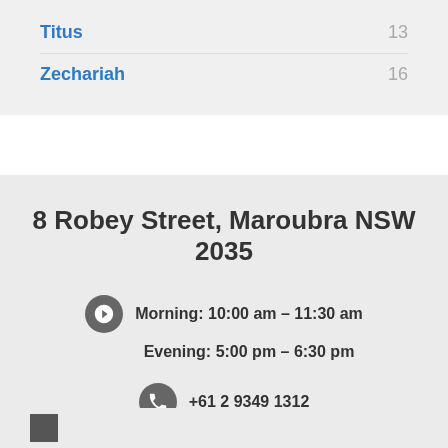Titus  13
Zechariah  16
8 Robey Street, Maroubra NSW 2035
Morning: 10:00 am – 11:30 am
Evening: 5:00 pm – 6:30 pm
+61 2 9349 1312